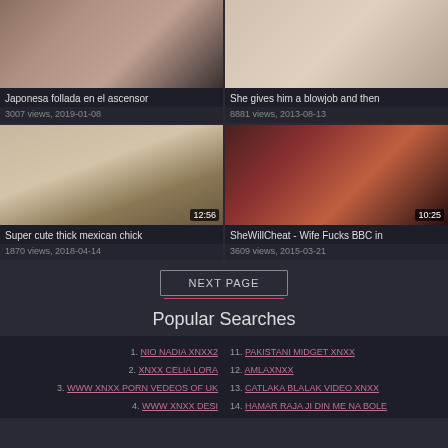[Figure (screenshot): Video thumbnail grid with 4 video cards]
Japonesa follada en el ascensor
3007 views, 2019-01-08
She gives him a blowjob and then
8881 views, 2013-08-13
Super cute thick mexican chick
1870 views, 2018-04-14
SheWillCheat - Wife Fucks BBC in
3609 views, 2015-03-21
NEXT PAGE
Popular Searches
1. NIO NADIA XNXX2
2. XNXX CELIA LORA
3. WWW XNXX PORN VEDEOS OF UK
4. WWW XNXX DESI
11. PAKISTANI MIDGET XNXX
12. AMLAXNXX
13. CATLAKA BLALAK VIDEO XNXX
14. HAMAR RAJA JI DIN ME NA BOLE